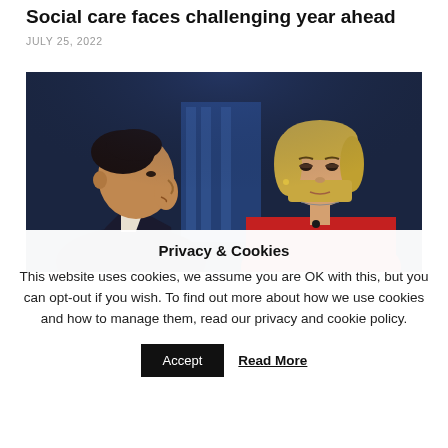Social care faces challenging year ahead
JULY 25, 2022
[Figure (photo): Two politicians in profile/facing forward against a dark blue background. On the left, a man in a dark suit with white shirt, dark hair, viewed in profile facing right. On the right, a woman with blonde bob hair wearing a red top, facing slightly left.]
Privacy & Cookies
This website uses cookies, we assume you are OK with this, but you can opt-out if you wish. To find out more about how we use cookies and how to manage them, read our privacy and cookie policy.
Accept   Read More